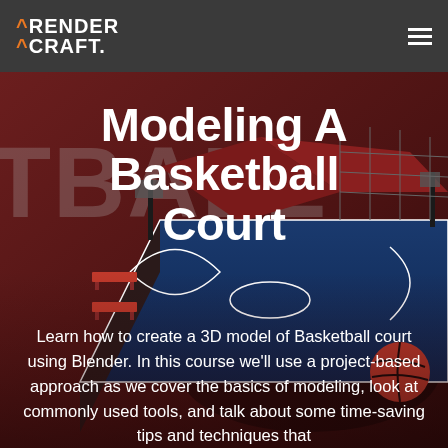RENDER CRAFT.
[Figure (illustration): 3D rendered basketball court in Blender, showing an isometric view of a miniature basketball court with red walls, blue court surface, court markings, and basketball hoops. The word 'TBALL' is visible in large grey text overlay on the left side.]
Modeling A Basketball Court
Learn how to create a 3D model of Basketball court using Blender. In this course we'll use a project-based approach as we cover the basics of modeling, look at commonly used tools, and talk about some time-saving tips and techniques that